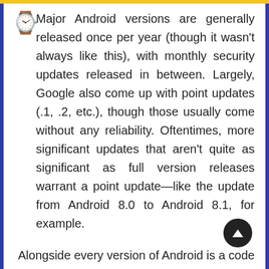Major Android versions are generally released once per year (though it wasn't always like this), with monthly security updates released in between. Largely, Google also come up with point updates (.1, .2, etc.), though those usually come without any reliability. Oftentimes, more significant updates that aren't quite as significant as full version releases warrant a point update—like the update from Android 8.0 to Android 8.1, for example.
Alongside every version of Android is a code name, which many people use instead of the version number. Each one is named after a dessert or some other form of confection, which is more for fun than anything else. The lists of